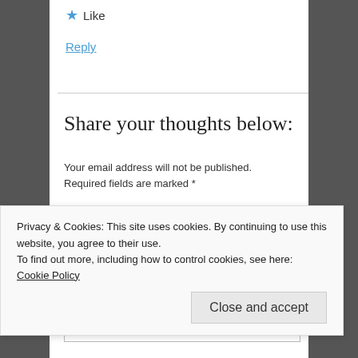★ Like
Reply
Share your thoughts below:
Your email address will not be published. Required fields are marked *
Comment *
Privacy & Cookies: This site uses cookies. By continuing to use this website, you agree to their use.
To find out more, including how to control cookies, see here: Cookie Policy
Close and accept